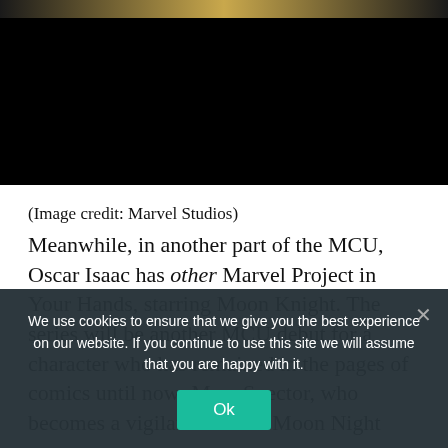[Figure (screenshot): Dark/black image area with a gold decorative bar at the top, appears to be a Marvel Studios video or image thumbnail]
(Image credit: Marvel Studios)
Meanwhile, in another part of the MCU, Oscar Isaac has other Marvel Project in Your Hands, starring Moon Knight. The series will be another MCU debut for a character who has remained in the pages of comics until now: Marc Spector, who becomes a vigilante named Moon Night
We use cookies to ensure that we give you the best experience on our website. If you continue to use this site we will assume that you are happy with it.